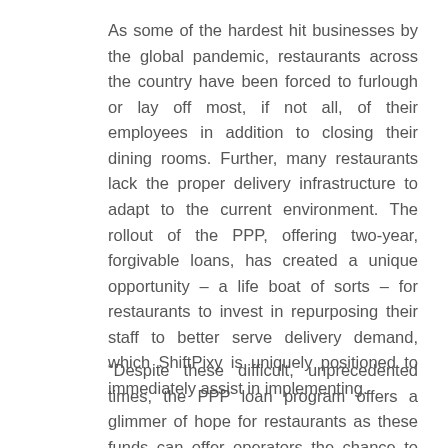As some of the hardest hit businesses by the global pandemic, restaurants across the country have been forced to furlough or lay off most, if not all, of their employees in addition to closing their dining rooms. Further, many restaurants lack the proper delivery infrastructure to adapt to the current environment. The rollout of the PPP, offering two-year, forgivable loans, has created a unique opportunity – a life boat of sorts – for restaurants to invest in repurposing their staff to better serve delivery demand, which ShiftPixy is uniquely positioned to immediately assist in implementing.
“Despite these difficult, unprecedented times, the PPP loan program offers a glimmer of hope for restaurants as these funds can offer operators the chance to rebuild their business even while their